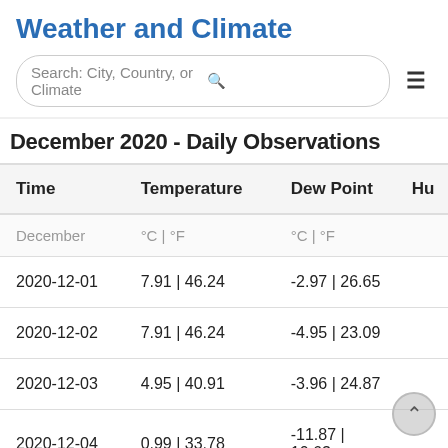Weather and Climate
December 2020 - Daily Observations
| Time | Temperature | Dew Point | Hu |
| --- | --- | --- | --- |
| December | °C | °F | °C | °F |  |
| 2020-12-01 | 7.91 | 46.24 | -2.97 | 26.65 |  |
| 2020-12-02 | 7.91 | 46.24 | -4.95 | 23.09 |  |
| 2020-12-03 | 4.95 | 40.91 | -3.96 | 24.87 |  |
| 2020-12-04 | 0.99 | 33.78 | -11.87 | 10.63 |  |